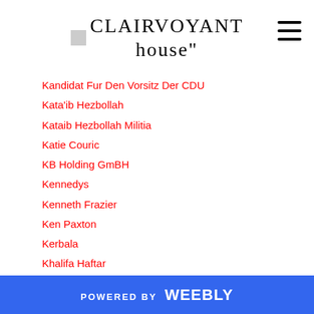CLAIRVOYANT house
Kandidat Fur Den Vorsitz Der CDU
Kata'ib Hezbollah
Kataib Hezbollah Militia
Katie Couric
KB Holding GmBH
Kennedys
Kenneth Frazier
Ken Paxton
Kerbala
Khalifa Haftar
Khashoggi Case
Khirbet Qeiyafa
Kidnapped
Kidnapping
Kilauea Volcano
POWERED BY weebly